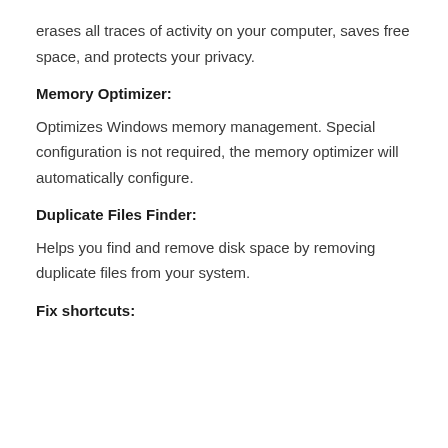erases all traces of activity on your computer, saves free space, and protects your privacy.
Memory Optimizer:
Optimizes Windows memory management. Special configuration is not required, the memory optimizer will automatically configure.
Duplicate Files Finder:
Helps you find and remove disk space by removing duplicate files from your system.
Fix shortcuts: